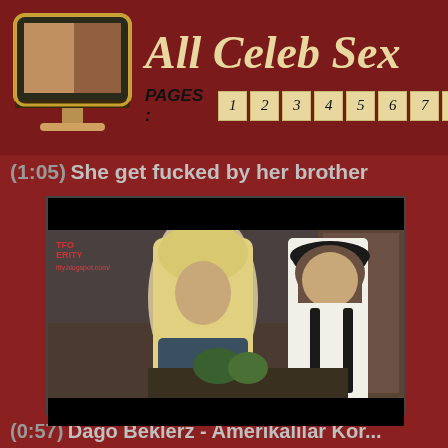[Figure (logo): Monitor/TV icon with adult content thumbnail, site logo for All Celeb Sex]
All Celeb Sex
PAGES : 1 2 3 4 5 6 7 8
(1:05) She get fucked by her brother
[Figure (screenshot): Video thumbnail showing two people indoors, one with long blonde hair and one wearing a dark cap and backpack, with watermark 'TFO RITY' visible]
(0:57) Dago Beklerz - Amerikalılar Kor...